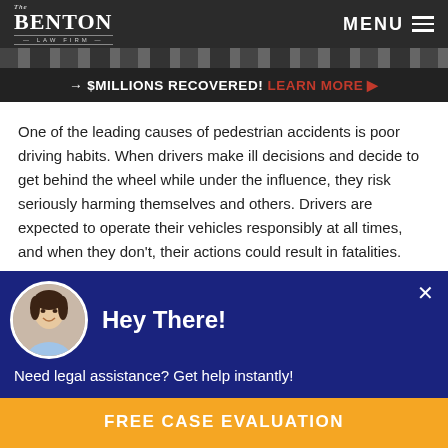The Benton Law Firm — MENU
[Figure (screenshot): Dark banner with text: → $MILLIONS RECOVERED! LEARN MORE ▶]
One of the leading causes of pedestrian accidents is poor driving habits. When drivers make ill decisions and decide to get behind the wheel while under the influence, they risk seriously harming themselves and others. Drivers are expected to operate their vehicles responsibly at all times, and when they don't, their actions could result in fatalities.
[Figure (photo): Chat popup with avatar photo of a woman smiling. Text: Hey There! Need legal assistance? Get help instantly!]
FREE CASE EVALUATION